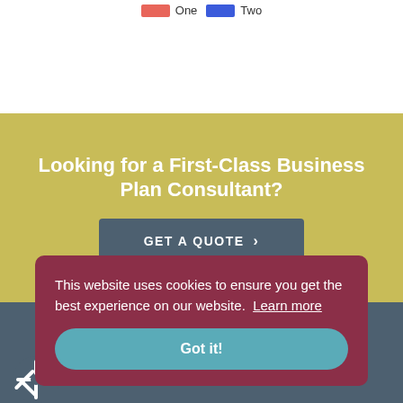[Figure (other): Legend showing two colored swatches labeled One (red/salmon) and Two (blue)]
Looking for a First-Class Business Plan Consultant?
GET A QUOTE ›
This website uses cookies to ensure you get the best experience on our website. Learn more
Got it!
[Figure (logo): White snowflake/asterisk logo on dark teal background]